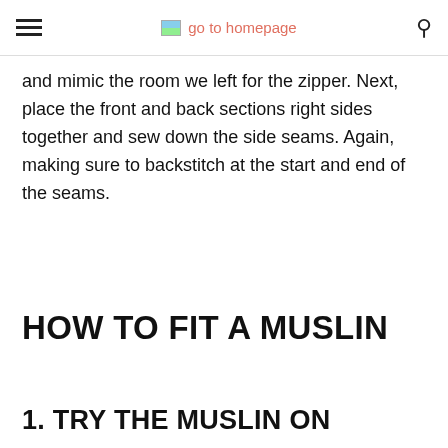go to homepage
and mimic the room we left for the zipper. Next, place the front and back sections right sides together and sew down the side seams. Again, making sure to backstitch at the start and end of the seams.
HOW TO FIT A MUSLIN
1. TRY THE MUSLIN ON